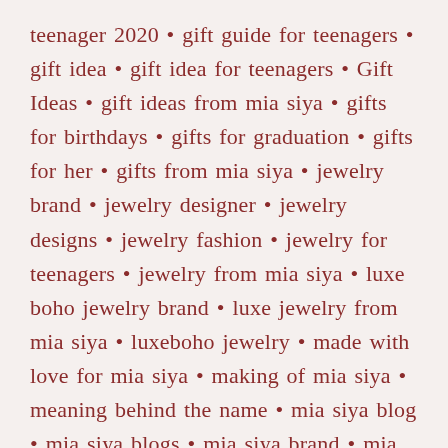teenager 2020 • gift guide for teenagers • gift idea • gift idea for teenagers • Gift Ideas • gift ideas from mia siya • gifts for birthdays • gifts for graduation • gifts for her • gifts from mia siya • jewelry brand • jewelry designer • jewelry designs • jewelry fashion • jewelry for teenagers • jewelry from mia siya • luxe boho jewelry brand • luxe jewelry from mia siya • luxeboho jewelry • made with love for mia siya • making of mia siya • meaning behind the name • mia siya blog • mia siya blogs • mia siya brand • mia siya brand for gifts • miasiya2020 • miasiyabrand 2020 • most popular jewelry • msdesigns2020 • teenager brand • teenager gift • teenagers gift guide • teenagers love mia siya • wishlist • world of mia siya